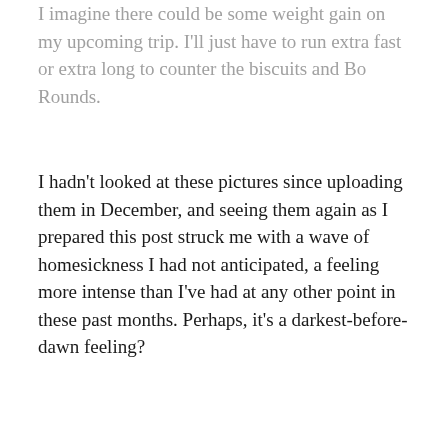I imagine there could be some weight gain on my upcoming trip. I'll just have to run extra fast or extra long to counter the biscuits and Bo Rounds.
I hadn't looked at these pictures since uploading them in December, and seeing them again as I prepared this post struck me with a wave of homesickness I had not anticipated, a feeling more intense than I've had at any other point in these past months. Perhaps, it's a darkest-before-dawn feeling?
Settling into a new life here with new routines and new friends and new writing spaces has kept me busy and distracted—in a good way. But, oh, how I'm ready to see home again.
If you could play tourist in your own hometown, where would you go? What would you do? What pictures would